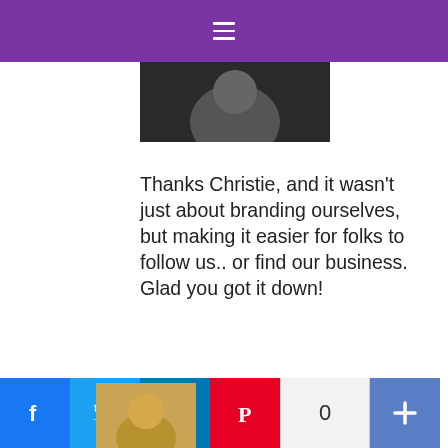[Figure (photo): Partial profile photo of a person, cropped at top, dark background]
Thanks Christie, and it wasn't just about branding ourselves, but making it easier for folks to follow us.. or find our business. Glad you got it down!
Reply
CAROL RUNDLE SAYS
[Figure (infographic): Social media sharing bar with Facebook, Twitter, LinkedIn, Pinterest buttons, share count of 0, and a plus/share button]